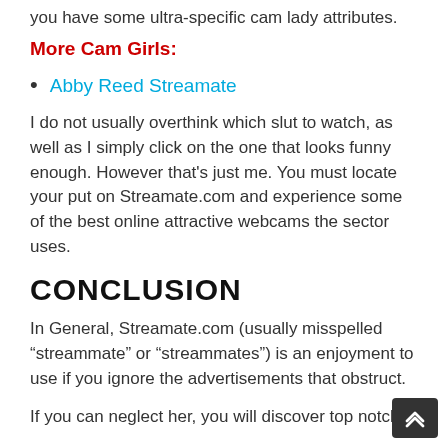you have some ultra-specific cam lady attributes.
More Cam Girls:
Abby Reed Streamate
I do not usually overthink which slut to watch, as well as I simply click on the one that looks funny enough. However that's just me. You must locate your put on Streamate.com and experience some of the best online attractive webcams the sector uses.
CONCLUSION
In General, Streamate.com (usually misspelled “streammate” or “streammates”) is an enjoyment to use if you ignore the advertisements that obstruct.
If you can neglect her, you will discover top notch